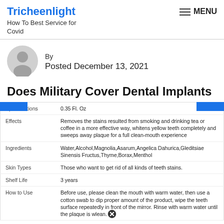Tricheenlight
How To Best Service for Covid
[Figure (illustration): Avatar placeholder circle with person silhouette icon in gray]
By
Posted December 13, 2021
Does Military Cover Dental Implants
| Specifications | 0.35 Fl. Oz |
| Effects | Removes the stains resulted from smoking and drinking tea or coffee in a more effective way, whitens yellow teeth completely and sweeps away plaque for a full clean-mouth experience |
| Ingredients | Water,Alcohol,Magnolia,Asarum,Angelica Dahurica,Gleditsiae Sinensis Fructus,Thyme,Borax,Menthol |
| Skin Types | Those who want to get rid of all kinds of teeth stains. |
| Shelf Life | 3 years |
| How to Use | Before use, please clean the mouth with warm water, then use a cotton swab to dip proper amount of the product, wipe the teeth surface repeatedly in front of the mirror. Rinse with warm water until the plaque is wh...clean. |